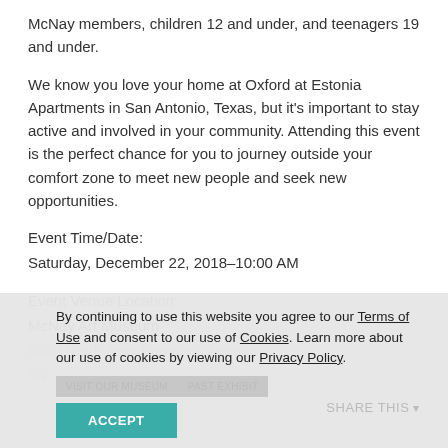McNay members, children 12 and under, and teenagers 19 and under.
We know you love your home at Oxford at Estonia Apartments in San Antonio, Texas, but it’s important to stay active and involved in your community. Attending this event is the perfect chance for you to journey outside your comfort zone to meet new people and seek new opportunities.
Event Time/Date:
Saturday, December 22, 2018–10:00 AM
Event Venue Location:
McNay Art Museum
6000 North New Braunfels Avenue
San Antonio, TX 78209
By continuing to use this website you agree to our Terms of Use and consent to our use of Cookies. Learn more about our use of cookies by viewing our Privacy Policy.